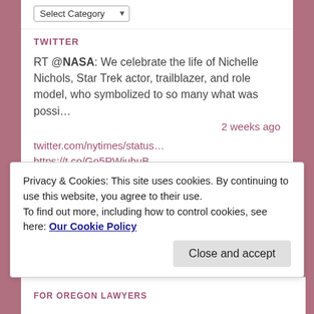Select Category
TWITTER
RT @NASA: We celebrate the life of Nichelle Nichols, Star Trek actor, trailblazer, and role model, who symbolized to so many what was possi…
2 weeks ago
twitter.com/nytimes/status… https://t.co/Go5RWjuhuB
2 weeks ago
RT @POTUS: 21 states have unemployment rates at or below 3% – the first time in history this has happened. Americans are working. And thi…
3 weeks ago
Privacy & Cookies: This site uses cookies. By continuing to use this website, you agree to their use.
To find out more, including how to control cookies, see here: Our Cookie Policy
Close and accept
FOR OREGON LAWYERS